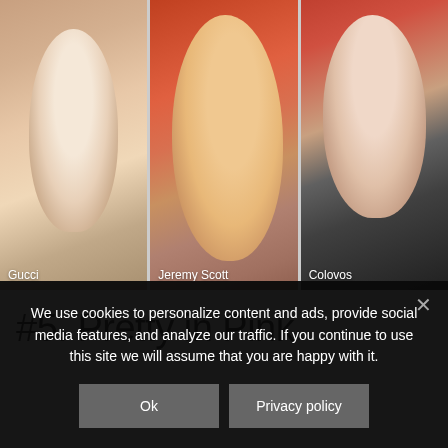[Figure (photo): Three fashion model photos side by side. Left: woman with brown hair (Gucci). Center: woman with red hair holding orange to lips (Jeremy Scott). Right: woman with red hair in dark jacket (Colovos).]
#5. Pretty in Pink
We use cookies to personalize content and ads, provide social media features, and analyze our traffic. If you continue to use this site we will assume that you are happy with it.